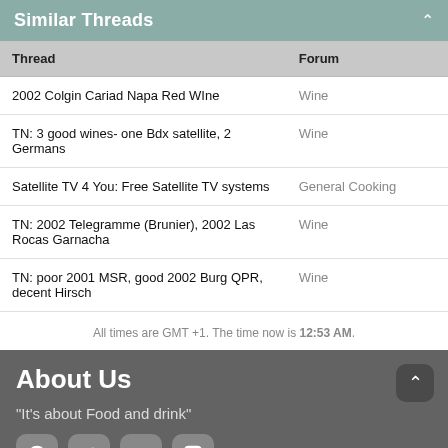Similar Threads
| Thread | Forum |
| --- | --- |
| 2002 Colgin Cariad Napa Red WIne | Wine |
| TN: 3 good wines- one Bdx satellite, 2 Germans | Wine |
| Satellite TV 4 You: Free Satellite TV systems | General Cooking |
| TN: 2002 Telegramme (Brunier), 2002 Las Rocas Garnacha | Wine |
| TN: poor 2001 MSR, good 2002 Burg QPR, decent Hirsch | Wine |
All times are GMT +1. The time now is 12:53 AM.
About Us
"It's about Food and drink"